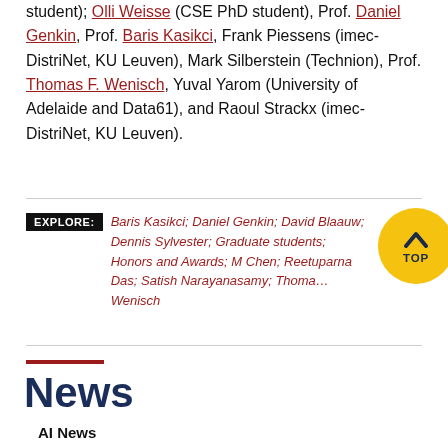student); Olli Weisse (CSE PhD student), Prof. Daniel Genkin, Prof. Baris Kasikci, Frank Piessens (imec-DistriNet, KU Leuven), Mark Silberstein (Technion), Prof. Thomas F. Wenisch, Yuval Yarom (University of Adelaide and Data61), and Raoul Strackx (imec-DistriNet, KU Leuven).
EXPLORE: Baris Kasikci; Daniel Genkin; David Blaauw; Dennis Sylvester; Graduate students; Honors and Awards; M Chen; Reetuparna Das; Satish Narayanasamy; Thomas Wenisch
News
AI News
AI Lab addresses COVID-19 challenges